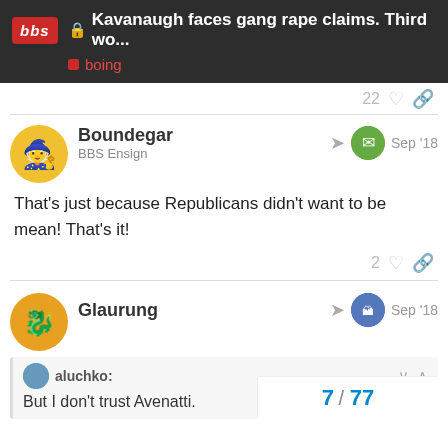Kavanaugh faces gang rape claims. Third wo... | boing
22
Boundegar
BBS Ensign
Sep '18
That's just because Republicans didn't want to be mean! That's it!
2
Glaurung
Sep '18
aluchko:
But I don't trust Avenatti.
7 / 77